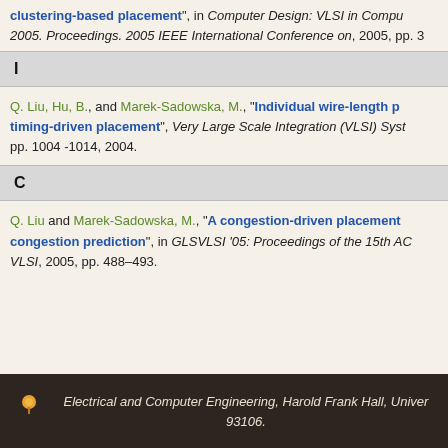clustering-based placement", in Computer Design: VLSI in Computers and Processors, ICCD 2005. Proceedings. 2005 IEEE International Conference on, 2005, pp. 3
I
Q. Liu, Hu, B., and Marek-Sadowska, M., “Individual wire-length prediction for timing-driven placement”, Very Large Scale Integration (VLSI) Systems, IEEE Transactions on, pp. 1004 -1014, 2004.
C
Q. Liu and Marek-Sadowska, M., “A congestion-driven placement based on congestion prediction”, in GLSVLSI '05: Proceedings of the 15th ACM Great Lakes symposium on VLSI, 2005, pp. 488–493.
Electrical and Computer Engineering, Harold Frank Hall, University of California, Santa Barbara, CA 93106.